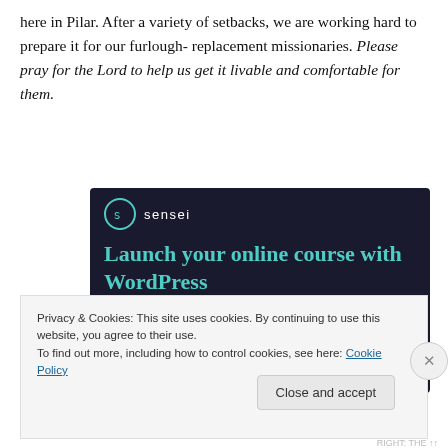here in Pilar. After a variety of setbacks, we are working hard to prepare it for our furlough- replacement missionaries. Please pray for the Lord to help us get it livable and comfortable for them.
[Figure (screenshot): Sensei advertisement banner with dark background. Shows Sensei logo with teal circle icon, headline 'Launch your online course with WordPress' in teal, and a 'Learn More' button in teal.]
Privacy & Cookies: This site uses cookies. By continuing to use this website, you agree to their use.
To find out more, including how to control cookies, see here: Cookie Policy
Close and accept